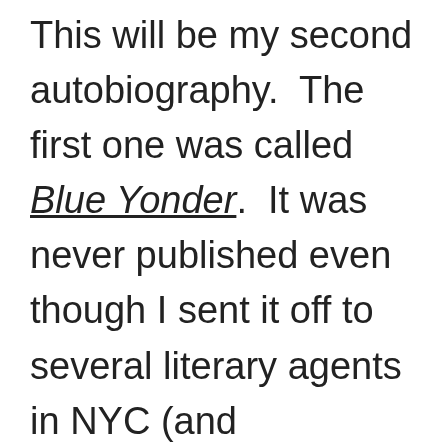This will be my second autobiography.  The first one was called Blue Yonder.  It was never published even though I sent it off to several literary agents in NYC (and elsewhere) and was able to generate considerable interest.  M****** K******–I don't remember the name of